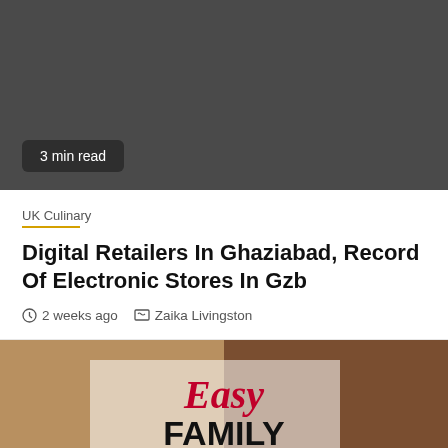[Figure (photo): Dark gray image block with a '3 min read' badge in the lower left]
3 min read
UK Culinary
Digital Retailers In Ghaziabad, Record Of Electronic Stores In Gzb
2 weeks ago   Zaika Livingston
[Figure (photo): Food collage showing various dishes with overlay text reading 'Easy FAMILY DINNER RECIPES']